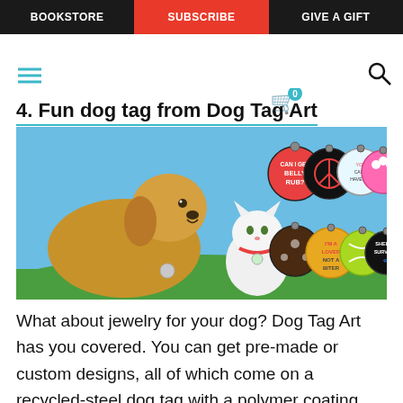BOOKSTORE | SUBSCRIBE | GIVE A GIFT
4. Fun dog tag from Dog Tag Art
[Figure (photo): Advertisement banner from Dog Tag Art showing a golden retriever and white cat sitting on green grass with a blue sky background, alongside images of eight colorful circular dog tags with designs including 'Can I Get A Belly Rub?', peace sign, 'You Can't Have Me', pink bones/paws, dark tag with flowers, 'I'm A Lover Not A Biter', tennis ball, and 'Shelter Survivor']
What about jewelry for your dog? Dog Tag Art has you covered. You can get pre-made or custom designs, all of which come on a recycled-steel dog tag with a polymer coating. Art tends to lean toward the fun and sassy, and the back of the tag allows you to include up